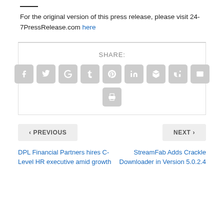For the original version of this press release, please visit 24-7PressRelease.com here
[Figure (infographic): Social share buttons row: Facebook, Twitter, Google+, Tumblr, Pinterest, LinkedIn, Buffer, StumbleUpon, Email, and a Print button below]
< PREVIOUS
NEXT >
DPL Financial Partners hires C-Level HR executive amid growth
StreamFab Adds Crackle Downloader in Version 5.0.2.4